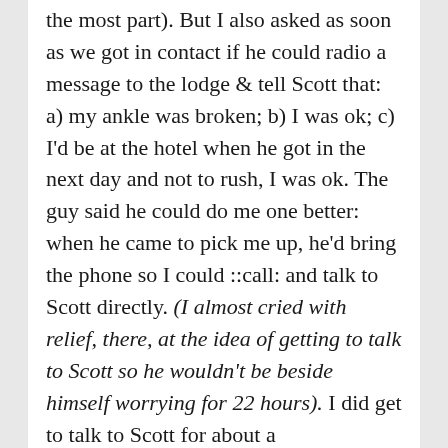( ... the most part). But I also asked as soon as we got in contact if he could radio a message to the lodge & tell Scott that: a) my ankle was broken; b) I was ok; c) I'd be at the hotel when he got in the next day and not to rush, I was ok. The guy said he could do me one better: when he came to pick me up, he'd bring the phone so I could ::call: and talk to Scott directly. (I almost cried with relief, there, at the idea of getting to talk to Scott so he wouldn't be beside himself worrying for 22 hours). I did get to talk to Scott for about a